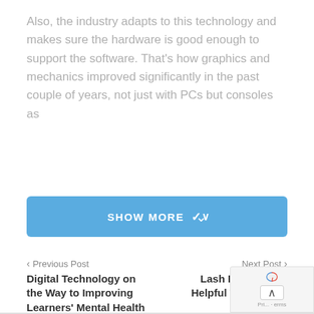Also, the industry adapts to this technology and makes sure the hardware is good enough to support the software. That's how graphics and mechanics improved significantly in the past couple of years, not just with PCs but consoles as
SHOW MORE ∨
< Previous Post
Digital Technology on the Way to Improving Learners' Mental Health
Next Post >
Lash Extensions: Helpful Tips Before Buying